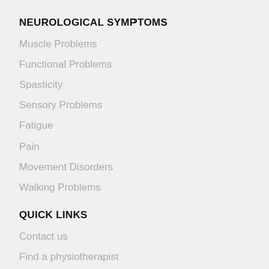NEUROLOGICAL SYMPTOMS
Muscle Problems
Functional Problems
Spasticity
Sensory Problems
Fatigue
Pain
Movement Disorders
Walking Problems
QUICK LINKS
Contact us
Find a physiotherapist
Sitemap